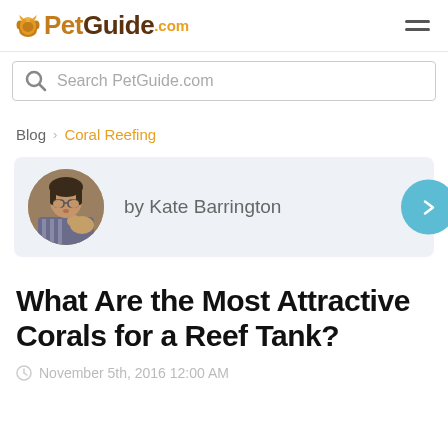PetGuide.com
Search PetGuide.com
Blog › Coral Reefing
by Kate Barrington
What Are the Most Attractive Corals for a Reef Tank?
November 5th, 2016 12:00 AM